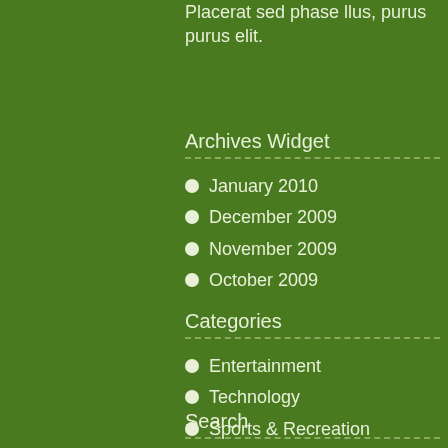Placerat sed phase llus, purus purus elit.
Archives Widget
January 2010
December 2009
November 2009
October 2009
Categories
Entertainment
Technology
Sports & Recreation
Jobs & Lifestyle
Search